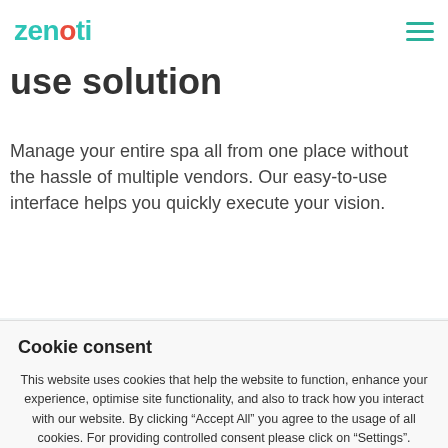zenoti
use solution
Manage your entire spa all from one place without the hassle of multiple vendors. Our easy-to-use interface helps you quickly execute your vision.
Cookie consent
This website uses cookies that help the website to function, enhance your experience, optimise site functionality, and also to track how you interact with our website. By clicking “Accept All” you agree to the usage of all cookies. For providing controlled consent please click on “Settings”.
Settings
Reject All
Accept All